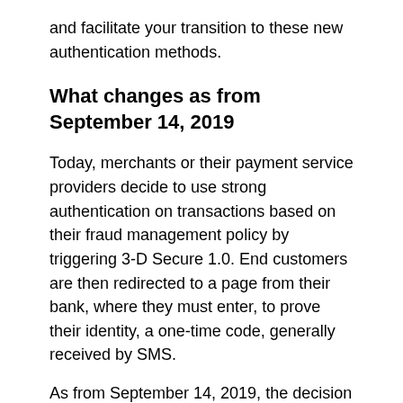and facilitate your transition to these new authentication methods.
What changes as from September 14, 2019
Today, merchants or their payment service providers decide to use strong authentication on transactions based on their fraud management policy by triggering 3-D Secure 1.0. End customers are then redirected to a page from their bank, where they must enter, to prove their identity, a one-time code, generally received by SMS.
As from September 14, 2019, the decision to apply strong authentication will be made by the issuer, the cardholder's bank (end customer). The issuer will make this decision according to the numerous criteria set in the PSD2 (limits, exemptions, fraud rate management…) and based on the analysis of more than 150 data collected during each